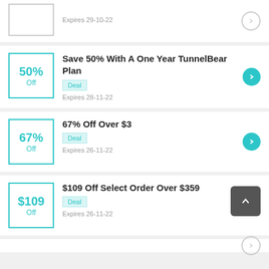Expires 29-10-22
Save 50% With A One Year TunnelBear Plan
Deal
Expires 28-11-22
67% Off Over $3
Deal
Expires 26-11-22
$109 Off Select Order Over $359
Deal
Expires 26-11-22